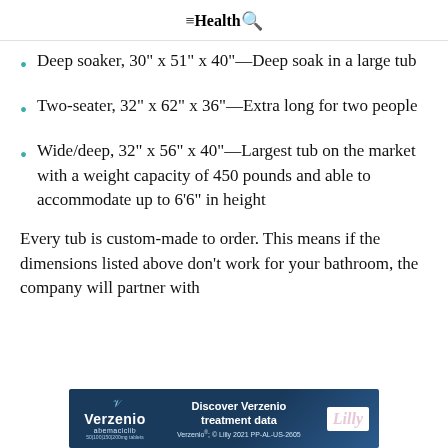Health
Deep soaker, 30" x 51" x 40"—Deep soak in a large tub
Two-seater, 32" x 62" x 36"—Extra long for two people
Wide/deep, 32" x 56" x 40"—Largest tub on the market with a weight capacity of 450 pounds and able to accommodate up to 6'6" in height
Every tub is custom-made to order. This means if the dimensions listed above don't work for your bathroom, the company will partner with
[Figure (other): Verzenio (abemaciclib) advertisement banner at bottom of page. Dark blue background with Verzenio and Lilly logos. Text reads: Discover Verzenio treatment data. Verzenio; © Lilly 2021 PP-AL-US-2605]